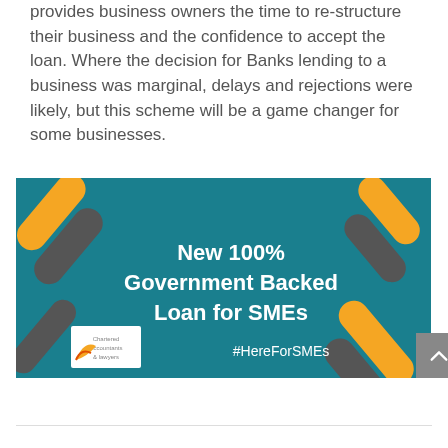provides business owners the time to re-structure their business and the confidence to accept the loan. Where the decision for Banks lending to a business was marginal, delays and rejections were likely, but this scheme will be a game changer for some businesses.
[Figure (infographic): Teal/blue banner advertisement with decorative orange and grey diagonal pill shapes in corners. White bold text reads 'New 100% Government Backed Loan for SMEs'. Bottom left shows a logo for a Chartered Accountants & lawyers firm. Below the main text reads '#HereForSMEs'.]